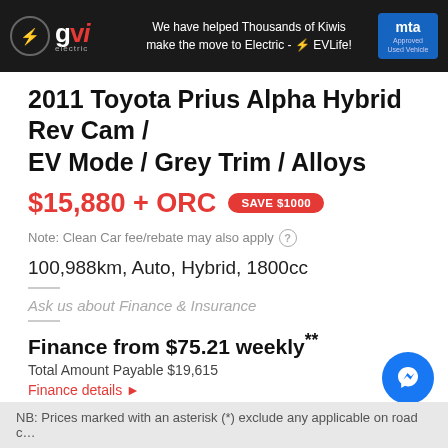[Figure (illustration): GVI Electric banner advertisement: dark background with GVI Electric logo on left, text 'We have helped Thousands of Kiwis make the move to Electric - EVLife!' in centre, MTA Assured badge on right.]
2011 Toyota Prius Alpha Hybrid Rev Cam / EV Mode / Grey Trim / Alloys
$15,880 + ORC  SAVE $1000
Note: Clean Car fee/rebate may also apply ?
100,988km, Auto, Hybrid, 1800cc
Ask us about Finance & Insurance
Finance from $75.21 weekly**
Total Amount Payable $19,615
Finance details ▶
📍 Tauranga
NB: Prices marked with an asterisk (*) exclude any applicable on road c…